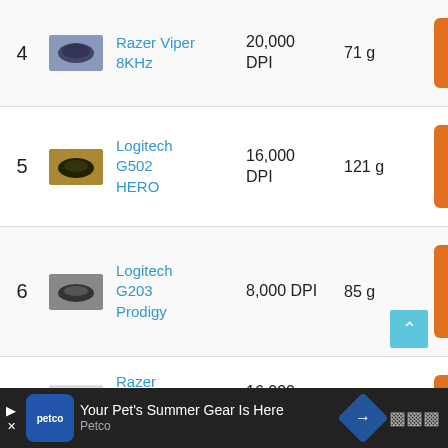| # | Image | Name | DPI | Weight |
| --- | --- | --- | --- | --- |
| 4 | [image] | Razer Viper 8KHz | 20,000 DPI | 71 g |
| 5 | [image] | Logitech G502 HERO | 16,000 DPI | 121 g |
| 6 | [image] | Logitech G203 Prodigy | 8,000 DPI | 85 g |
| 7 | [image] | Razer DeathAdder Elite | 16,000 DPI | 105 g |
[Figure (screenshot): Petco advertisement banner: 'Your Pet's Summer Gear Is Here - Petco']